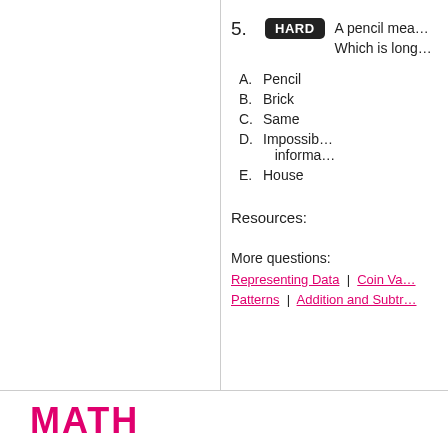5. HARD  A pencil mea... Which is long...
A. Pencil
B. Brick
C. Same
D. Impossible to determine without more information
E. House
Resources:
More questions:
Representing Data | Coin Va... | Patterns | Addition and Subtr...
MATH